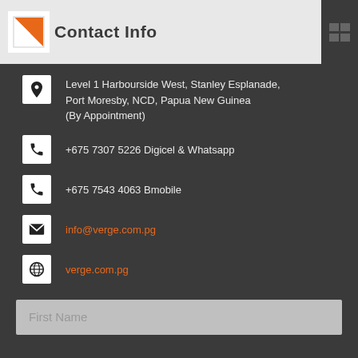Contact Info
Level 1 Harbourside West, Stanley Esplanade, Port Moresby, NCD, Papua New Guinea (By Appointment)
+675 7307 5226 Digicel & Whatsapp
+675 7543 4063 Bmobile
info@verge.com.pg
verge.com.pg
First Name